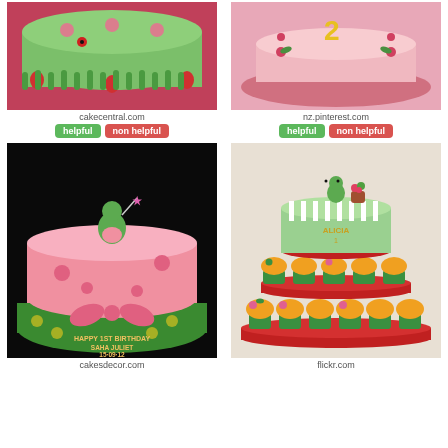[Figure (photo): Green and pink decorated birthday cake with roses and strawberries, red/magenta background]
cakecentral.com
helpful | non helpful
[Figure (photo): Pink birthday cake with yellow number 2 and flower decorations on pink plate]
nz.pinterest.com
helpful | non helpful
[Figure (photo): Pink round cake with Barney dinosaur fairy figure on top, green base, text 'Happy 1st Birthday Saha Juliet 15-09-12']
cakesdecor.com
[Figure (photo): Three-tier cupcake stand with green Barney dinosaur cupcakes and main green cake on top with name Alicia]
flickr.com